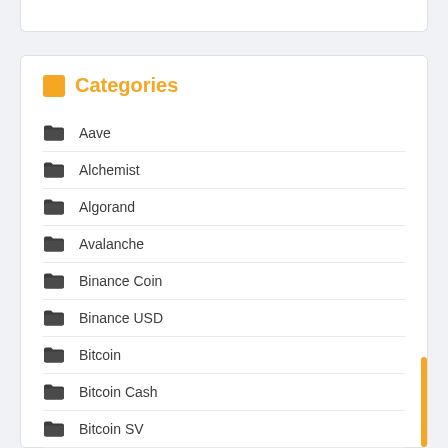Categories
Aave
Alchemist
Algorand
Avalanche
Binance Coin
Binance USD
Bitcoin
Bitcoin Cash
Bitcoin SV
BitTorrent